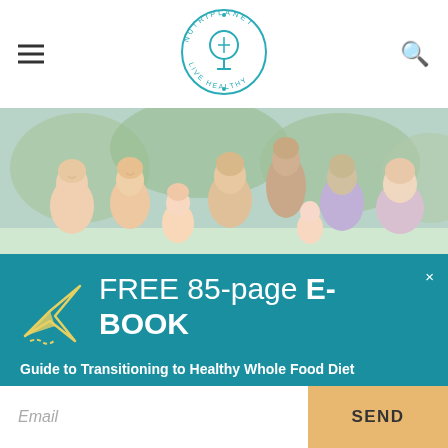[Figure (logo): NutriPlanet Live Healthy circular logo with tree icon in teal]
[Figure (photo): Family group of multi-generational people sitting around a table outdoors, smiling and eating together]
FREE 85-page E-BOOK
Guide to Transitioning to Healthy Whole Food Diet
Email
SEND